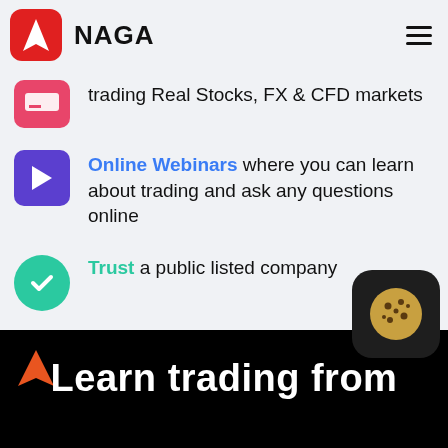NAGA
trading Real Stocks, FX & CFD markets
Online Webinars where you can learn about trading and ask any questions online
Trust a public listed company
Learn trading from